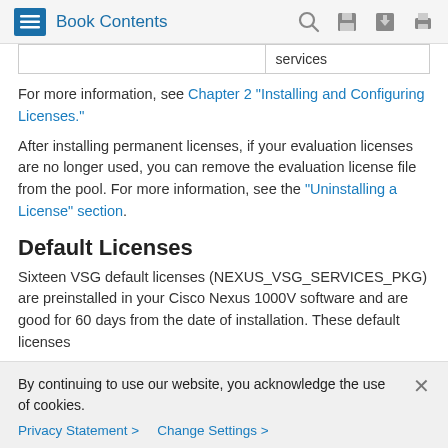Book Contents
|  | services |
For more information, see Chapter 2 "Installing and Configuring Licenses."
After installing permanent licenses, if your evaluation licenses are no longer used, you can remove the evaluation license file from the pool. For more information, see the "Uninstalling a License" section.
Default Licenses
Sixteen VSG default licenses (NEXUS_VSG_SERVICES_PKG) are preinstalled in your Cisco Nexus 1000V software and are good for 60 days from the date of installation. These default licenses
By continuing to use our website, you acknowledge the use of cookies.
Privacy Statement > Change Settings >